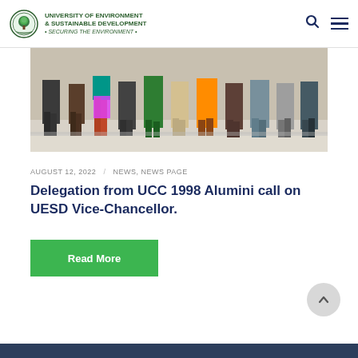UNIVERSITY OF ENVIRONMENT & SUSTAINABLE DEVELOPMENT · Securing the Environment ·
[Figure (photo): Group photo of approximately 10 people standing together, cropped to show from waist down, wearing colorful clothing including orange, green, and blue outfits.]
AUGUST 12, 2022 / NEWS, NEWS PAGE
Delegation from UCC 1998 Alumini call on UESD Vice-Chancellor.
Read More